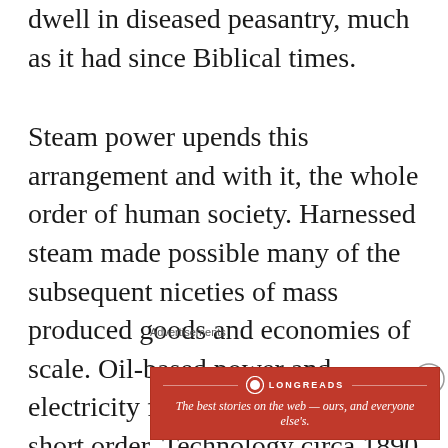dwell in diseased peasantry, much as it had since Biblical times.
Steam power upends this arrangement and with it, the whole order of human society. Harnessed steam made possible many of the subsequent niceties of mass produced goods and economies of scale. Oil-based power and electricity follow in relatively short order. Technology circa 1890 doesn't so much slope upward as it makes a left turn into the stratosphere. The nuclear, electronic and computer ages unroll like ticker
Advertisements
[Figure (other): Longreads advertisement banner: dark red background with Longreads logo and tagline 'The best stories on the web — ours, and everyone else's.']